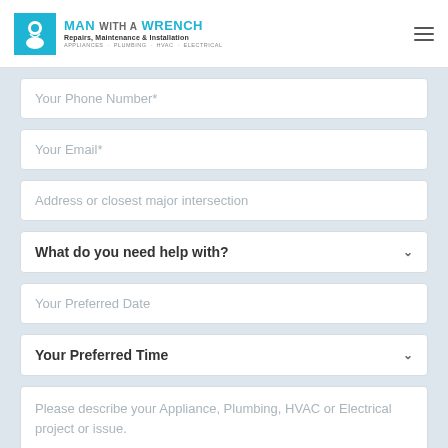MAN WITH A WRENCH — Repairs, Maintenance & Installation — APPLIANCES · PLUMBING · HVAC · ELECTRICAL
Your Phone Number*
Your Email*
Address or closest major intersection
What do you need help with?
Your Preferred Date
Your Preferred Time
Please describe your Appliance, Plumbing, HVAC or Electrical project or issue.